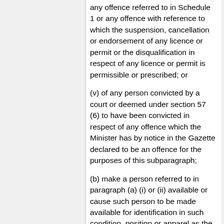any offence referred to in Schedule 1 or any offence with reference to which the suspension, cancellation or endorsement of any licence or permit or the disqualification in respect of any licence or permit is permissible or prescribed; or
(v) of any person convicted by a court or deemed under section 57 (6) to have been convicted in respect of any offence which the Minister has by notice in the Gazette declared to be an offence for the purposes of this subparagraph;
(b) make a person referred to in paragraph (a) (i) or (ii) available or cause such person to be made available for identification in such condition, position or apparel as the police official may determine;
(c) take such steps as he may deem necessary in order to ascertain whether the body of any person referred to in paragraph (a) (i) or (ii) has any mark, characteristic or distinguishing feature or